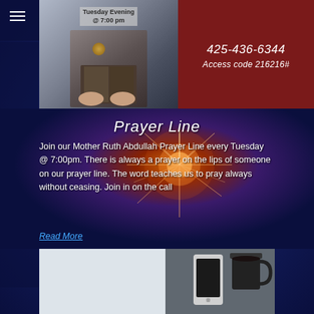Join us for prayer every Tuesday @ 7:00 p
Tuesday Evening @ 7:00 pm
425-436-6344
Access code 216216#
Prayer Line
Join our Mother Ruth Abdullah Prayer Line every Tuesday @ 7:00pm. There is always a prayer on the lips of someone on our prayer line. The word teaches us to pray always without ceasing. Join in on the call
Read More
[Figure (photo): Bottom photo showing a white pillow with a smartphone (iPhone) and a dark mug on what appears to be a bed or white surface]